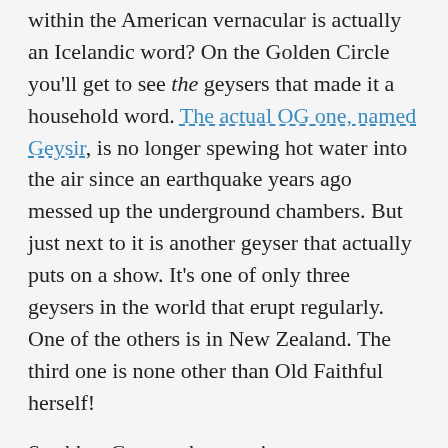within the American vernacular is actually an Icelandic word? On the Golden Circle you'll get to see the geysers that made it a household word. The actual OG one, named Geysir, is no longer spewing hot water into the air since an earthquake years ago messed up the underground chambers. But just next to it is another geyser that actually puts on a show. It's one of only three geysers in the world that erupt regularly. One of the others is in New Zealand. The third one is none other than Old Faithful herself!
Strokkur Geyser, the erupting one, erupts every 4-10 minutes. When you're there in the freezing winter it feels more like 4 hours between each eruption. You can do some hiking around the area but don't expect to spend a lot of time there.
This is a good place to stop for a lunchtime break. There are gift shops for those who want to get all...